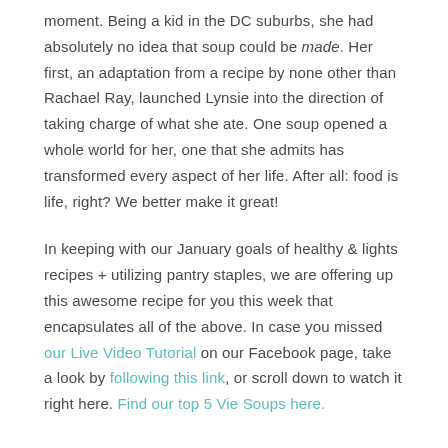moment.  Being a kid in the DC suburbs, she had absolutely no idea that soup could be made.  Her first, an adaptation from a recipe by none other than Rachael Ray, launched Lynsie into the direction of taking charge of what she ate.  One soup opened a whole world for her, one that she admits has transformed every aspect of her life.  After all: food is life, right?  We better make it great!
In keeping with our January goals of healthy & lights recipes + utilizing pantry staples, we are offering up this awesome recipe for you this week that encapsulates all of the above.  In case you missed our Live Video Tutorial on our Facebook page, take a look by following this link, or scroll down to watch it right here.  Find our top 5 Vie Soups here.